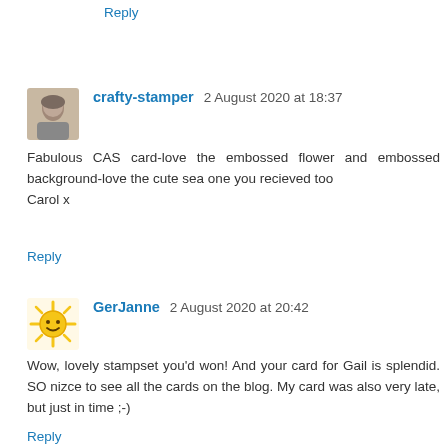Reply
[Figure (photo): Small avatar photo of an elderly person (grayscale tones)]
crafty-stamper 2 August 2020 at 18:37
Fabulous CAS card-love the embossed flower and embossed background-love the cute sea one you recieved too
Carol x
Reply
[Figure (illustration): Sun emoji / cartoon yellow sun with rays and a smiley face]
GerJanne 2 August 2020 at 20:42
Wow, lovely stampset you'd won! And your card for Gail is splendid. SO nizce to see all the cards on the blog. My card was also very late, but just in time ;-)
Reply
[Figure (photo): Small avatar photo of a person (warm tones)]
aussie aNNie 3 August 2020 at 07:27
This card sure is fabulous, love the style and the amazing...